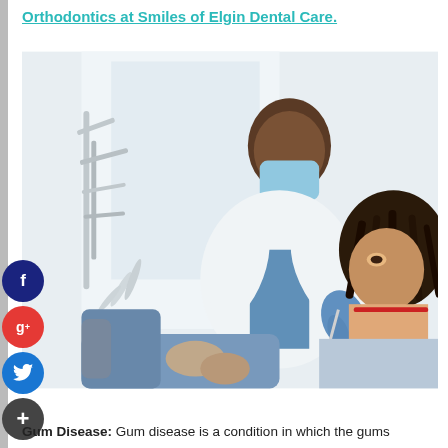Orthodontics at Smiles of Elgin Dental Care.
[Figure (photo): A dentist wearing a mask and blue gloves examining a female patient who is reclined in a dental chair, with dental equipment visible in the background.]
Gum Disease: Gum disease is a condition in which the gums